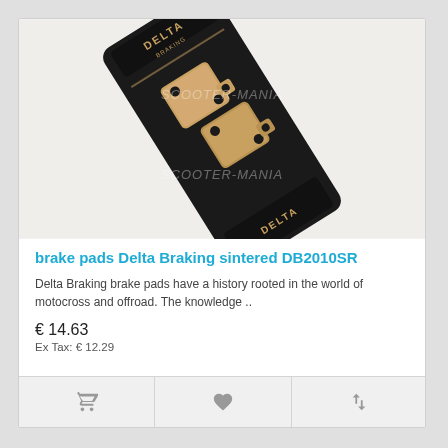[Figure (photo): Product photo of Delta Braking sintered brake pads DB2010SR on dark packaging card with SCOOTER-MANIA watermark]
brake pads Delta Braking sintered DB2010SR
Delta Braking brake pads have a history rooted in the world of motocross and offroad. The knowledge ..
€ 14.63
Ex Tax: € 12.29